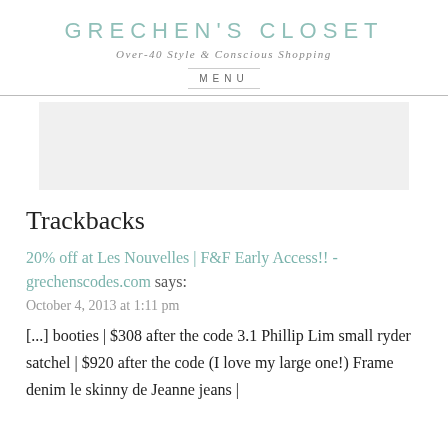GRECHEN'S CLOSET
Over-40 Style & Conscious Shopping
MENU
[Figure (other): Advertisement banner placeholder, light gray background]
Trackbacks
20% off at Les Nouvelles | F&F Early Access!! - grechenscodes.com says:
October 4, 2013 at 1:11 pm
[...] booties | $308 after the code 3.1 Phillip Lim small ryder satchel | $920 after the code (I love my large one!) Frame denim le skinny de Jeanne jeans |